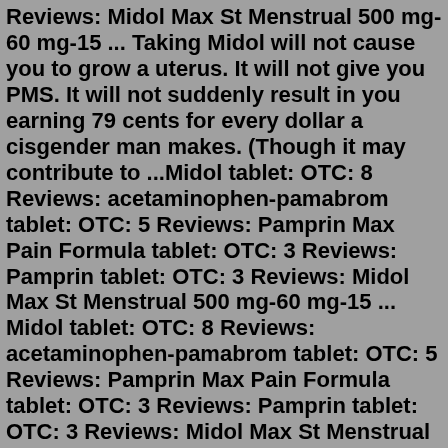Reviews: Midol Max St Menstrual 500 mg-60 mg-15 ... Taking Midol will not cause you to grow a uterus. It will not give you PMS. It will not suddenly result in you earning 79 cents for every dollar a cisgender man makes. (Though it may contribute to ...Midol tablet: OTC: 8 Reviews: acetaminophen-pamabrom tablet: OTC: 5 Reviews: Pamprin Max Pain Formula tablet: OTC: 3 Reviews: Pamprin tablet: OTC: 3 Reviews: Midol Max St Menstrual 500 mg-60 mg-15 ... Midol tablet: OTC: 8 Reviews: acetaminophen-pamabrom tablet: OTC: 5 Reviews: Pamprin Max Pain Formula tablet: OTC: 3 Reviews: Pamprin tablet: OTC: 3 Reviews: Midol Max St Menstrual 500 mg-60 mg-15 ... The basic difference between Citrucel and Metamucil is the type of fiber they contain. While Citrucel is made from Methyl Cellulose, a chemical compound that is derived from cellulose, Metamucil on the other hand is made from psyllium seed husk that is ground into a powder. The plant is native to Pakistan and India.Find patient medical information for Midol Complete oral on WebMD including its